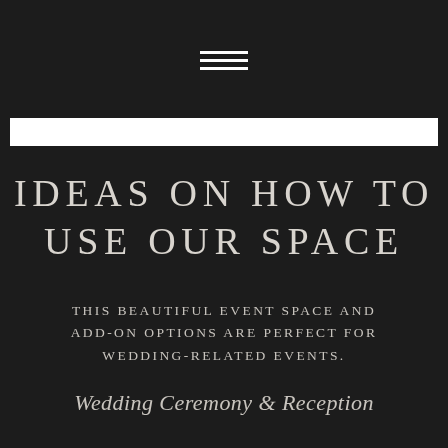[Figure (other): Hamburger menu icon — three horizontal white lines centered at the top of a dark background]
IDEAS ON HOW TO USE OUR SPACE
THIS BEAUTIFUL EVENT SPACE AND ADD-ON OPTIONS ARE PERFECT FOR WEDDING-RELATED EVENTS.
Wedding Ceremony & Reception